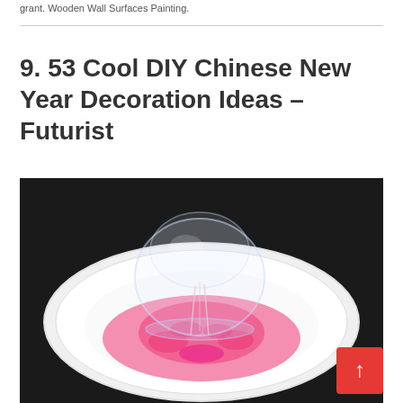grant. Wooden Wall Surfaces Painting.
9. 53 Cool DIY Chinese New Year Decoration Ideas – Futurist
[Figure (photo): Photo of a DIY Chinese New Year decoration craft: a white paper plate with pink foam/clay material on it, with a clear plastic cup or balloon placed on top, set against a dark background. A red back-to-top button with an upward arrow is visible in the bottom right corner.]